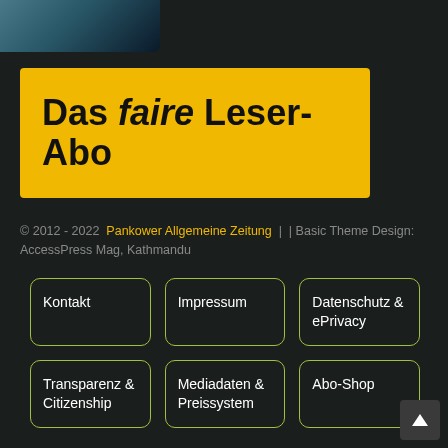[Figure (photo): Partial photo showing a teal/blue watery or aerial scene in the top-left corner]
Das faire Leser-Abo
© 2012 - 2022  Pankower Allgemeine Zeitung  |  | Basic Theme Design: AccessPress Mag, Kathmandu
Kontakt
Impressum
Datenschutz & ePrivacy
Transparenz & Citizenship
Mediadaten & Preissystem
Abo-Shop